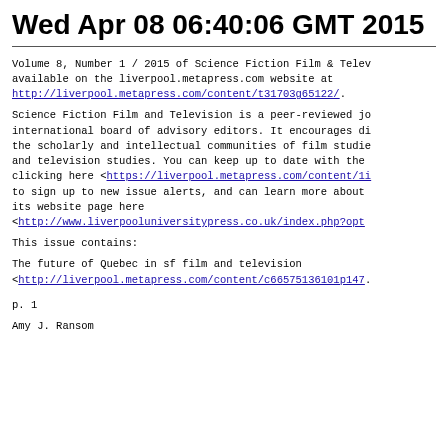Wed Apr 08 06:40:06 GMT 2015
Volume 8, Number 1 / 2015 of Science Fiction Film & Television is available on the liverpool.metapress.com website at http://liverpool.metapress.com/content/t31703g65122/.
Science Fiction Film and Television is a peer-reviewed journal with an international board of advisory editors. It encourages dialogue between the scholarly and intellectual communities of film studies, sf studies, and television studies. You can keep up to date with the journal by clicking here <https://liverpool.metapress.com/content/12/> to sign up to new issue alerts, and can learn more about the journal on its website page here <http://www.liverpooluniversitypress.co.uk/index.php?opt...
This issue contains:
The future of Quebec in sf film and television <http://liverpool.metapress.com/content/c66575136101p147...
p. 1
Amy J. Ransom